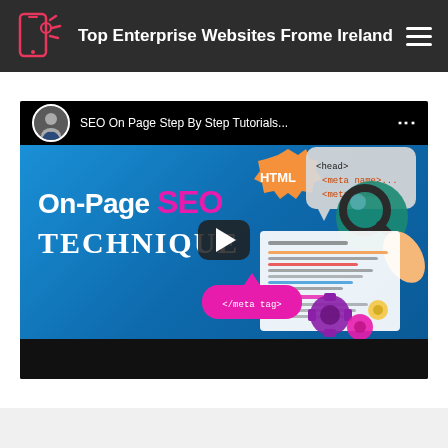Top Enterprise Websites Frome Ireland
[Figure (screenshot): YouTube-style video thumbnail showing 'SEO On Page Step By Step Tutorials...' with a man's avatar, play button overlay, and graphic showing 'On-Page SEO Technique' with HTML meta tag code elements, magnifying glass, and gears on a blue background.]